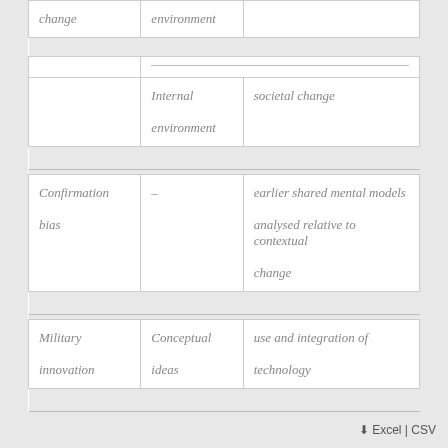| change | environment |  |
|  |  |  |
|  | Internal environment | societal change |
|  |  |  |
| Confirmation bias | – | earlier shared mental models analysed relative to contextual change |
|  |  |  |
| Military innovation | Conceptual ideas | use and integration of technology |
|  |  |  |
Excel | CSV